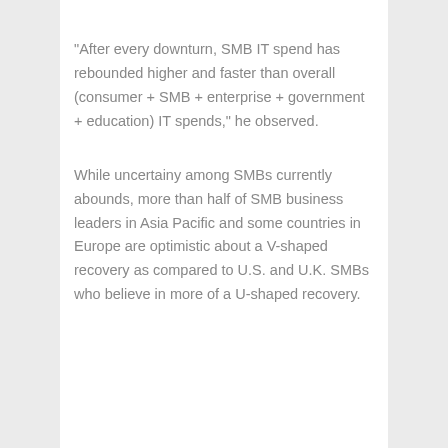"After every downturn, SMB IT spend has rebounded higher and faster than overall (consumer + SMB + enterprise + government + education) IT spends," he observed.
While uncertainy among SMBs currently abounds, more than half of SMB business leaders in Asia Pacific and some countries in Europe are optimistic about a V-shaped recovery as compared to U.S. and U.K. SMBs who believe in more of a U-shaped recovery.